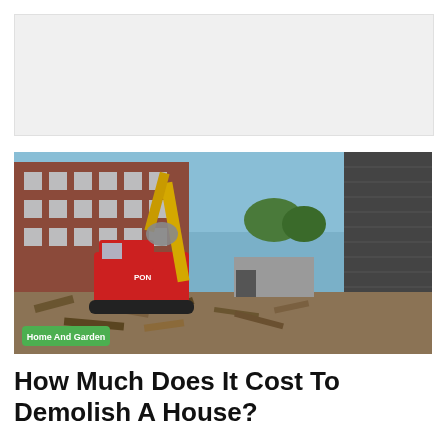[Figure (photo): Advertisement banner placeholder (gray background)]
[Figure (photo): Demolition scene showing a red excavator with yellow boom arm working on a demolished building site with rubble on the ground. Brick buildings visible in background under blue sky. A green 'Home And Garden' category badge overlays the bottom-left of the image.]
How Much Does It Cost To Demolish A House?